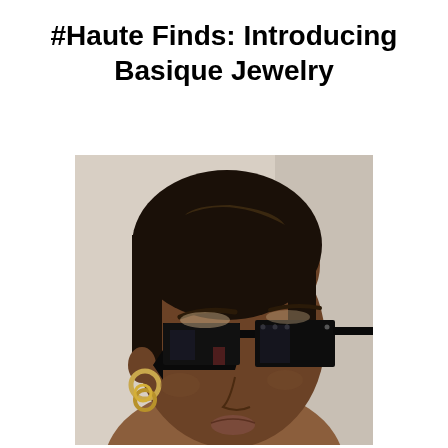#Haute Finds: Introducing Basique Jewelry
[Figure (photo): Close-up portrait of a young Black woman wearing bold rectangular black sunglasses with small stud details and gold hoop earrings, photographed against a light beige/grey wall background.]